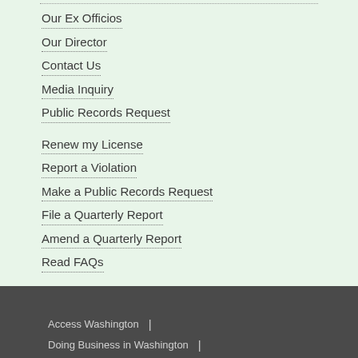Our Ex Officios
Our Director
Contact Us
Media Inquiry
Public Records Request
Renew my License
Report a Violation
Make a Public Records Request
File a Quarterly Report
Amend a Quarterly Report
Read FAQs
Access Washington | Doing Business in Washington |